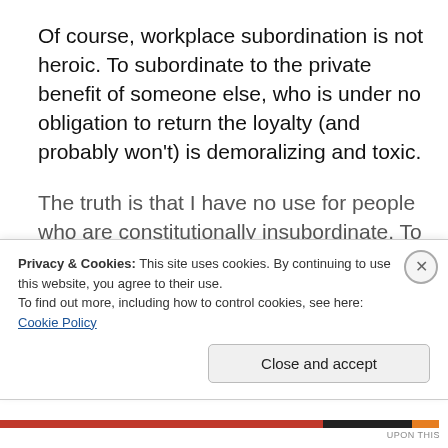Of course, workplace subordination is not heroic. To subordinate to the private benefit of someone else, who is under no obligation to return the loyalty (and probably won't) is demoralizing and toxic.
The truth is that I have no use for people who are constitutionally insubordinate. To blindly disobey orders, because they are orders, is even more idiotic than blindly...
Privacy & Cookies: This site uses cookies. By continuing to use this website, you agree to their use.
To find out more, including how to control cookies, see here: Cookie Policy
Close and accept